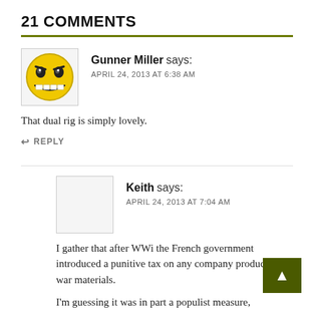21 COMMENTS
Gunner Miller says:
APRIL 24, 2013 AT 6:38 AM
That dual rig is simply lovely.
↩ REPLY
Keith says:
APRIL 24, 2013 AT 7:04 AM
I gather that after WWi the French government introduced a punitive tax on any company producing war materials.
I'm guessing it was in part a populist measure,
as rushing into a war (in favour of Serbia and Russia) and